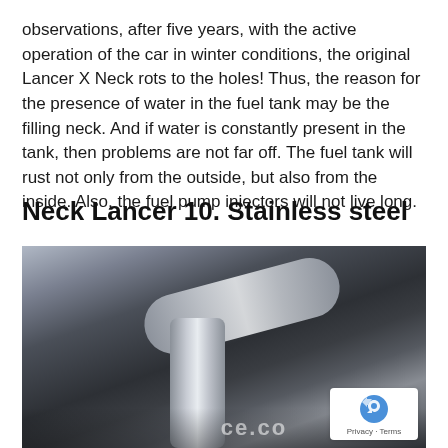observations, after five years, with the active operation of the car in winter conditions, the original Lancer X Neck rots to the holes! Thus, the reason for the presence of water in the fuel tank may be the filling neck. And if water is constantly present in the tank, then problems are not far off. The fuel tank will rust not only from the outside, but also from the inside. Also, the fuel pump injectors will not live long.
Neck Lancer 10. Stainless steel
[Figure (photo): Photograph showing a stainless steel fuel filler neck pipe installed in a car wheel arch, with corroded surrounding metal components visible underneath the vehicle.]